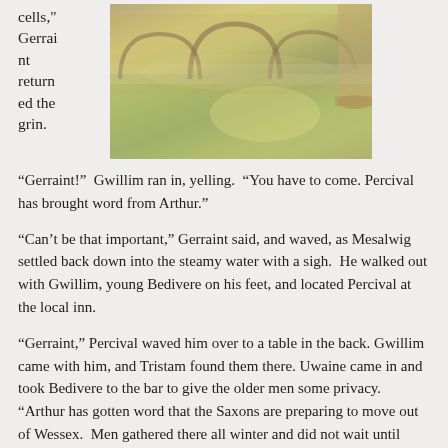cells," Gerraint returned the grin.
[Figure (photo): Photo of ancient Roman baths with steamy green water, stone columns and arched architecture in warm golden tones.]
“Gerraint!”  Gwillim ran in, yelling.  “You have to come.  Percival has brought word from Arthur.”
“Can’t be that important,” Gerraint said, and waved, as Mesalwig settled back down into the steamy water with a sigh.  He walked out with Gwillim, young Bedivere on his feet, and located Percival at the local inn.
“Gerraint,” Percival waved him over to a table in the back. Gwillim came with him, and Tristam found them there. Uwaine came in and took Bedivere to the bar to give the older men some privacy. “Arthur has gotten word that the Saxons are preparing to move out of Wessex.  Men gathered there all winter and did not wait until spring like we supposed. He needs you to take up a position at the foot of Mount Badon where the old road over the hills meets the Roman road that